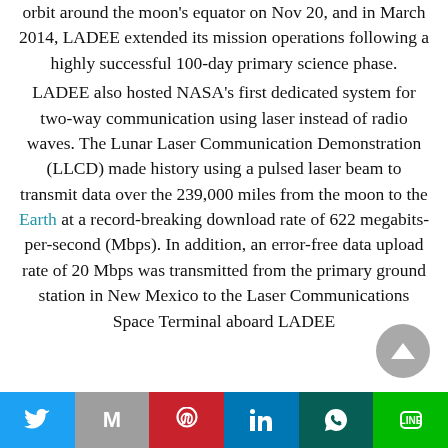orbit around the moon's equator on Nov 20, and in March 2014, LADEE extended its mission operations following a highly successful 100-day primary science phase.
LADEE also hosted NASA's first dedicated system for two-way communication using laser instead of radio waves. The Lunar Laser Communication Demonstration (LLCD) made history using a pulsed laser beam to transmit data over the 239,000 miles from the moon to the Earth at a record-breaking download rate of 622 megabits-per-second (Mbps). In addition, an error-free data upload rate of 20 Mbps was transmitted from the primary ground station in New Mexico to the Laser Communications Space Terminal aboard LADEE.
[Figure (other): Social sharing bar at the bottom with buttons for Twitter, Gmail/Email, Pinterest, LinkedIn, WhatsApp, and LINE]